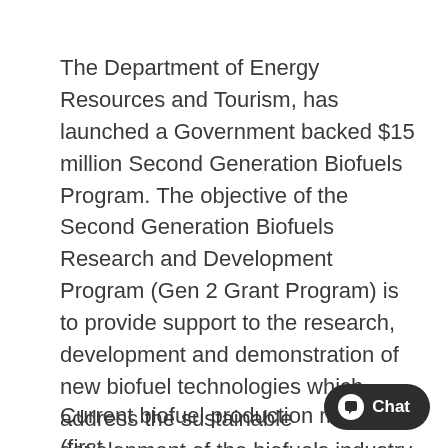The Department of Energy Resources and Tourism, has launched a Government backed $15 million Second Generation Biofuels Program. The objective of the Second Generation Biofuels Research and Development Program (Gen 2 Grant Program) is to provide support to the research, development and demonstration of new biofuel technologies which address the sustainable development of the biofuels industry in Australia.
Current biofuel production methods (first